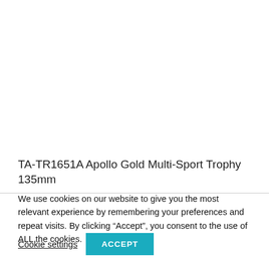TA-TR1651A Apollo Gold Multi-Sport Trophy 135mm
We use cookies on our website to give you the most relevant experience by remembering your preferences and repeat visits. By clicking “Accept”, you consent to the use of ALL the cookies.
Cookie settings
ACCEPT